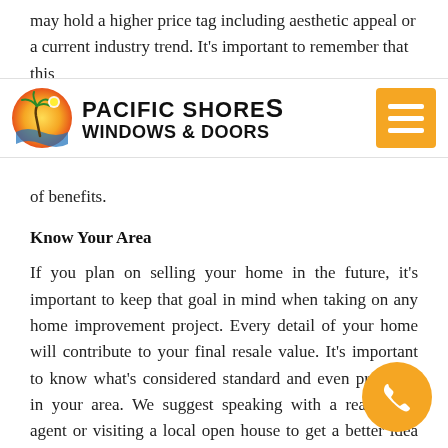may hold a higher price tag including aesthetic appeal or a current industry trend. It's important to remember that this
[Figure (logo): Pacific Shores Windows & Doors logo with palm tree circle icon and hamburger menu button]
of benefits.
Know Your Area
If you plan on selling your home in the future, it's important to keep that goal in mind when taking on any home improvement project. Every detail of your home will contribute to your final resale value. It's important to know what's considered standard and even preferred in your area. We suggest speaking with a real estate agent or visiting a local open house to get a better idea of which window choice is best for your future goals.
The best way to shop like an expert is to work one-on-one with professionals. At Pacific Shores Windows & Doors, our window experts are here to assist you in finding the windows of your